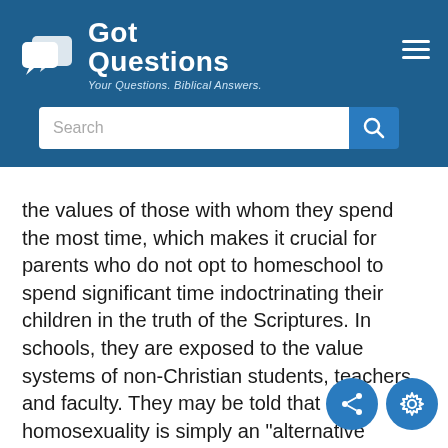[Figure (logo): GotQuestions.org logo with speech bubble icon, white text on blue background, tagline: Your Questions. Biblical Answers.]
the values of those with whom they spend the most time, which makes it crucial for parents who do not opt to homeschool to spend significant time indoctrinating their children in the truth of the Scriptures. In schools, they are exposed to the value systems of non-Christian students, teachers, and faculty. They may be told that homosexuality is simply an "alternative lifestyle," that abortion is acceptable, and sex before marriage is normal and healthy. The child who is well-versed in biblical principles will easily see the falsehood of these claims and may very well be used by God to